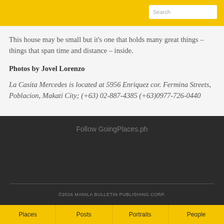Search
market and serves all things in a bygone era.
This house may be small but it's one that holds many great things – things that span time and distance – inside.
Photos by Jovel Lorenzo
La Casita Mercedes is located at 5956 Enriquez cor. Fermina Streets, Poblacion, Makati City; (+63) 02-887-4385 (+63)0977-726-0440
Follow GoingPlaces.ph
©2016 MANILA BULLETIN PUBLISHING CORP.
Places  Posts  Portraits  People